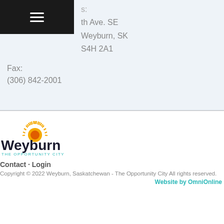th Ave. SE
Weyburn, SK
S4H 2A1
Fax:
(306) 842-2001
[Figure (logo): City of Weyburn logo with sunburst graphic and text 'Weyburn THE OPPORTUNITY CITY']
Contact · Login
Copyright © 2022 Weyburn, Saskatchewan - The Opportunity City All rights reserved.
Website by OmniOnline